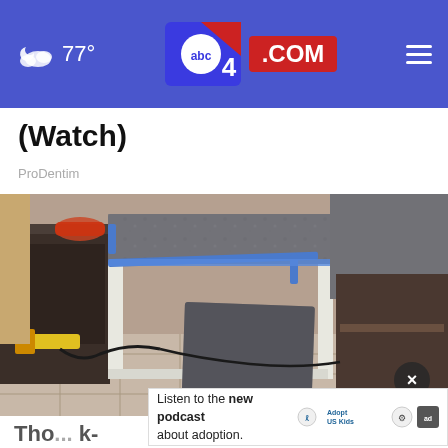77° abc4.com
(Watch)
ProDentim
[Figure (photo): Kitchen renovation scene showing granite countertop being installed over cabinets, with blue painter's tape on the stone edges. Tools and yellow cords visible on the floor.]
Tho... k-
in T...
Listen to the new podcast about adoption.